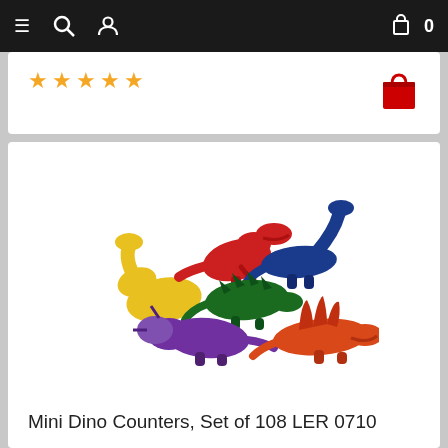Navigation bar with menu, search, user, cart icons
[Figure (other): Five orange star rating icons displayed in a row]
[Figure (photo): Six colorful mini dinosaur counter figures: yellow, red (T-rex), dark blue (brontosaurus), green (stegosaurus), purple (triceratops), orange-red (dimetrodon/spinosaurus)]
Mini Dino Counters, Set of 108 LER 0710
$29.99